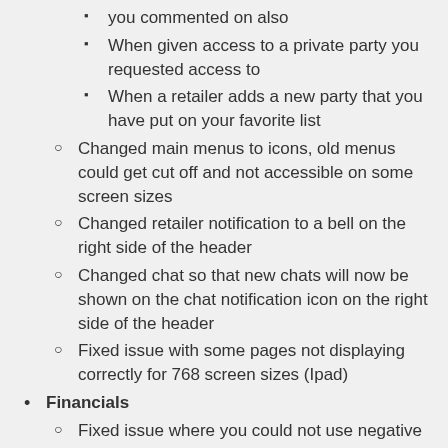you commented on also
When given access to a private party you requested access to
When a retailer adds a new party that you have put on your favorite list
Changed main menus to icons, old menus could get cut off and not accessible on some screen sizes
Changed retailer notification to a bell on the right side of the header
Changed chat so that new chats will now be shown on the chat notification icon on the right side of the header
Fixed issue with some pages not displaying correctly for 768 screen sizes (Ipad)
Financials
Fixed issue where you could not use negative